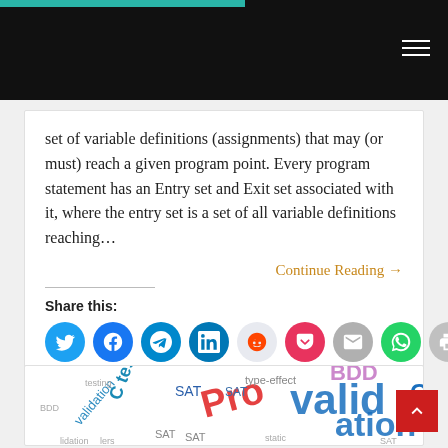Navigation bar with teal accent and hamburger menu
set of variable definitions (assignments) that may (or must) reach a given program point. Every program statement has an Entry set and Exit set associated with it, where the entry set is a set of all variable definitions reaching…
Continue Reading →
Share this:
[Figure (infographic): Row of circular social share icons: Twitter (cyan), Facebook (blue), Telegram (blue), LinkedIn (blue), Reddit (light blue/gray), Pocket (red/pink), Email (gray), WhatsApp (green), Print (gray)]
[Figure (photo): Word cloud image featuring software testing and validation terms including: validation, BDD, SAT, Pro, C testing, type-effect, and other related programming/testing terminology in various colors and sizes]